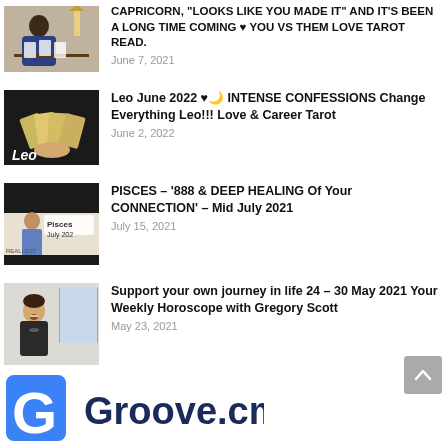CAPRICORN, "LOOKS LIKE YOU MADE IT" AND IT'S BEEN A LONG TIME COMING ♥ YOU VS THEM LOVE TAROT READ.
Leo June 2022 ♥🌙 INTENSE CONFESSIONS Change Everything Leo!!! Love & Career Tarot
PISCES – '888 & DEEP HEALING Of Your CONNECTION' – Mid July 2021
Support your own journey in life 24 – 30 May 2021 Your Weekly Horoscope with Gregory Scott
[Figure (logo): Groove.cm logo with blue G document icon and dark blue text]